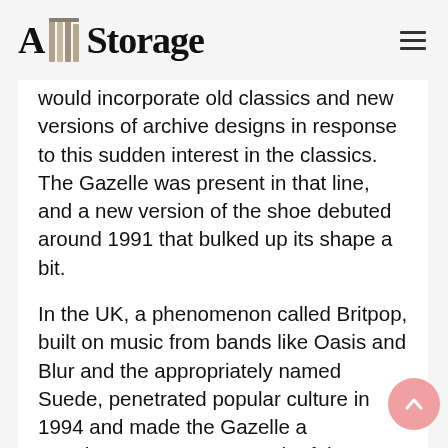A1 Storage
would incorporate old classics and new versions of archive designs in response to this sudden interest in the classics. The Gazelle was present in that line, and a new version of the shoe debuted around 1991 that bulked up its shape a bit.
In the UK, a phenomenon called Britpop, built on music from bands like Oasis and Blur and the appropriately named Suede, penetrated popular culture in 1994 and made the Gazelle a mandatory accessory. Much of the music was forgettable lad-rock and was kitted out in the resurrection of Adidas Firebird tracksuit tops, skinny ringer tees, and pillaging of old sports brands.